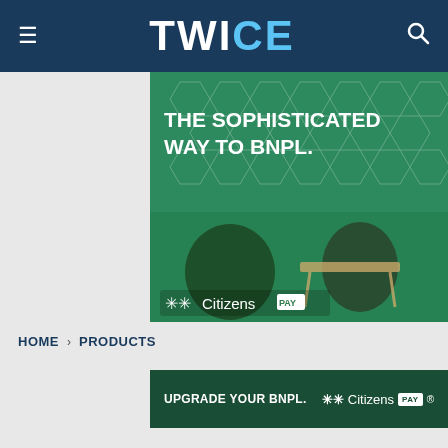TWICE
[Figure (photo): Advertisement banner for Citizens Pay BNPL service showing two people — a man on a couch with a tablet and a woman at a desk with a laptop — against a green geometric background. Text reads: THE SOPHISTICATED WAY TO BNPL. Citizens PAY logo at bottom left.]
HOME › PRODUCTS
[Figure (photo): Dark green advertisement banner reading: UPGRADE YOUR BNPL. Citizens PAY logo.]